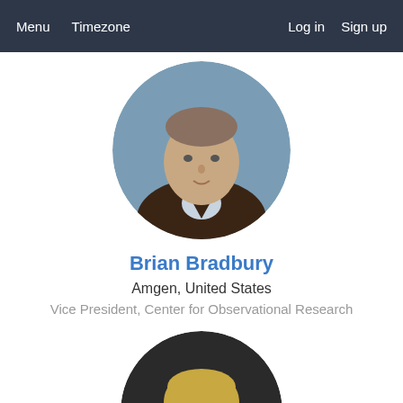Menu  Timezone  Log in  Sign up
[Figure (photo): Circular profile photo of Brian Bradbury, a middle-aged man wearing a dark brown sweater over a collared shirt, photographed against a blue-grey background.]
Brian Bradbury
Amgen, United States
Vice President, Center for Observational Research
[Figure (photo): Circular profile photo of a younger blond man wearing glasses and a light blue shirt under a grey suit jacket, photographed against a dark background.]